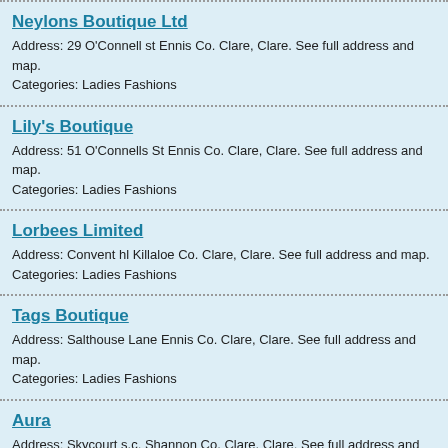Neylons Boutique Ltd
Address: 29 O'Connell st Ennis Co. Clare, Clare. See full address and map.
Categories: Ladies Fashions
Lily's Boutique
Address: 51 O'Connells St Ennis Co. Clare, Clare. See full address and map.
Categories: Ladies Fashions
Lorbees Limited
Address: Convent hl Killaloe Co. Clare, Clare. See full address and map.
Categories: Ladies Fashions
Tags Boutique
Address: Salthouse Lane Ennis Co. Clare, Clare. See full address and map.
Categories: Ladies Fashions
Aura
Address: Skycourt s.c. Shannon Co. Clare, Clare. See full address and map.
Categories: Ladies Fashions
Juno